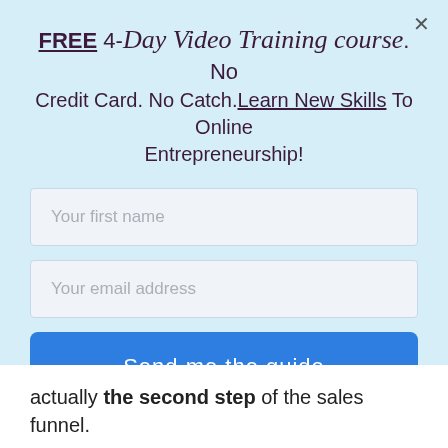FREE 4-Day Video Training course. No Credit Card. No Catch. Learn New Skills To Online Entrepreneurship!
[Figure (screenshot): Web form with two input fields (Your first name, Your email address) and a blue 'Send me the guide' button on a light blue background, with a close X button in the top right corner.]
actually the second step of the sales funnel.